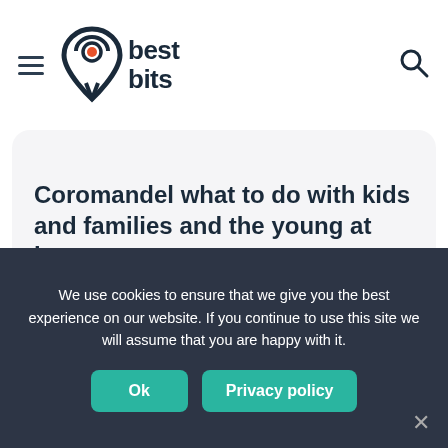[Figure (logo): Best Bits logo with stylized location pin icon containing an orange dot, and the text 'best bits' in bold]
Coromandel what to do with kids and families and the young at heart
Read more >
Share:
We use cookies to ensure that we give you the best experience on our website. If you continue to use this site we will assume that you are happy with it.